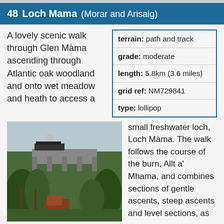48  Loch Mama  (Morar and Arisaig)
A lovely scenic walk through Glen Màma ascending through Atlantic oak woodland and onto wet meadow and heath to access a
| terrain: | path and track |
| grade: | moderate |
| length: | 5.8km (3.6 miles) |
| grid ref: | NM729841 |
| type: | lollipop |
[Figure (photo): Photo of Glen Mama showing trees in foreground with a railway viaduct and tractor visible behind them]
small freshwater loch, Loch Màma. The walk follows the course of the burn, Allt a' Mhama, and combines sections of gentle ascents, steep ascents and level sections, as you...
Read more